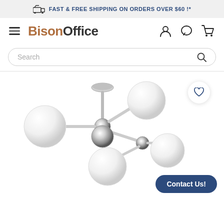FAST & FREE SHIPPING ON ORDERS OVER $60 !*
[Figure (logo): BisonOffice logo with hamburger menu and nav icons (user, chat, cart)]
[Figure (screenshot): Search bar with placeholder text 'Search' and magnifying glass icon]
[Figure (photo): Modern sputnik/molecule style chandelier with chrome arms and white globe bulbs, with heart/wishlist button and Contact Us button overlay]